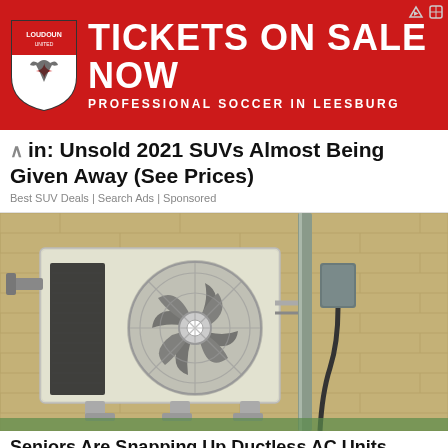[Figure (photo): Advertisement banner: red background with Loudoun United FC shield logo on left, large white bold text 'TICKETS ON SALE NOW' and subtitle 'PROFESSIONAL SOCCER IN LEESBURG']
in: Unsold 2021 SUVs Almost Being Given Away (See Prices)
Best SUV Deals | Search Ads | Sponsored
[Figure (photo): Outdoor mini-split ductless AC unit mounted on a tan/beige brick wall. The unit is off-white/gray with a large circular fan grille. Metal pipes and a dark electrical cable run up the right side of the wall to an electrical box.]
Seniors Are Snapping Up Ductless AC Units